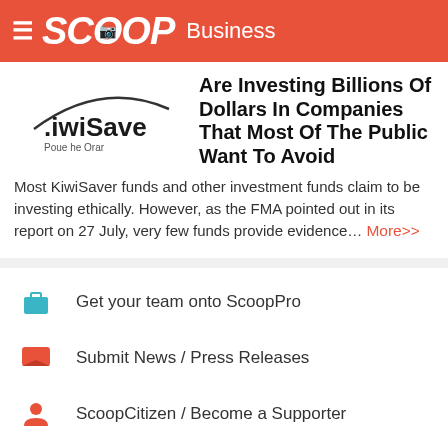SCOOP Business
Are Investing Billions Of Dollars In Companies That Most Of The Public Want To Avoid
Most KiwiSaver funds and other investment funds claim to be investing ethically. However, as the FMA pointed out in its report on 27 July, very few funds provide evidence... More>>
Get your team onto ScoopPro
Submit News / Press Releases
ScoopCitizen / Become a Supporter
Get 25% off a year of ScoopPro